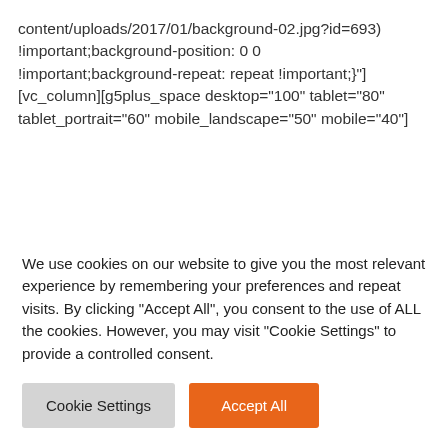content/uploads/2017/01/background-02.jpg?id=693) !important;background-position: 0 0 !important;background-repeat: repeat !important;}'] [vc_column][g5plus_space desktop="100" tablet="80" tablet_portrait="60" mobile_landscape="50" mobile="40"]
[Figure (other): Orange horizontal decorative line divider]
We use cookies on our website to give you the most relevant experience by remembering your preferences and repeat visits. By clicking "Accept All", you consent to the use of ALL the cookies. However, you may visit "Cookie Settings" to provide a controlled consent.